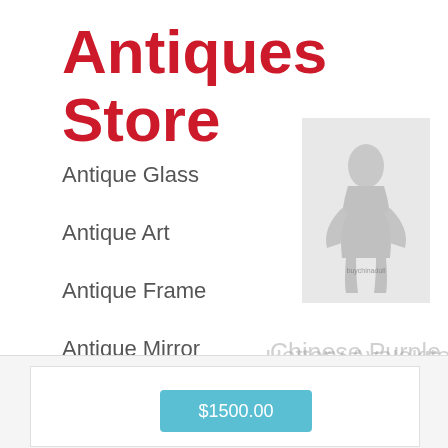Antiques Store
Antique Glass
Antique Art
Antique Frame
Antique Mirror
Antique Jug
Antique Painting
[Figure (photo): Watermark image of a porcelain/Buddha sculpture in gray tones, overlaid with text watermarks reading Chinese Purple Sands Porcelain Pottery Avalokitesvara Guanyin Buddha Sculpture]
$1500.00